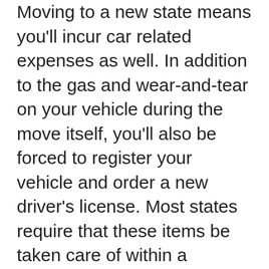Moving to a new state means you'll incur car related expenses as well. In addition to the gas and wear-and-tear on your vehicle during the move itself, you'll also be forced to register your vehicle and order a new driver's license. Most states require that these items be taken care of within a designated time. The expenses involved in registering your car in a new state can soar into the hundreds depending on where you're moving. Though there's not much you can do about the expense of licensing and registration, you might want to consider having your car shipped to its destination. Sometimes the expense of gas, oil changes, and hotel nights is more expensive than flying and having your